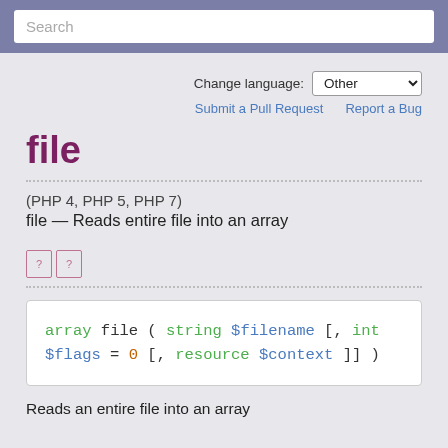Search
Change language: Other
Submit a Pull Request   Report a Bug
file
(PHP 4, PHP 5, PHP 7)
file — Reads entire file into an array
[Figure (other): Two small icon boxes with question marks]
array file ( string $filename [, int $flags = 0 [, resource $context ]] )
Reads an entire file into an array